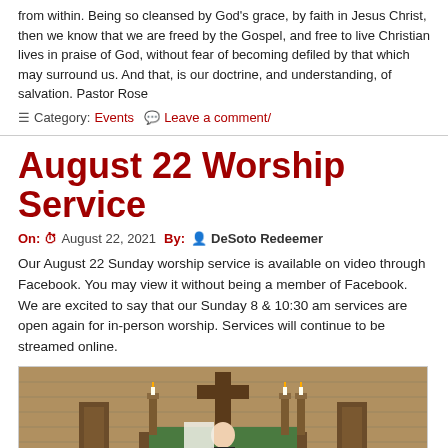from within. Being so cleansed by God's grace, by faith in Jesus Christ, then we know that we are freed by the Gospel, and free to live Christian lives in praise of God, without fear of becoming defiled by that which may surround us. And that, is our doctrine, and understanding, of salvation. Pastor Rose
Category: Events  Leave a comment/
August 22 Worship Service
On: August 22, 2021 By: DeSoto Redeemer
Our August 22 Sunday worship service is available on video through Facebook. You may view it without being a member of Facebook. We are excited to say that our Sunday 8 & 10:30 am services are open again for in-person worship. Services will continue to be streamed online.
[Figure (photo): A person standing at the altar/pulpit of a church interior with brick walls, wooden pews, candles, and a cross visible. Congregation members visible from behind in the foreground.]